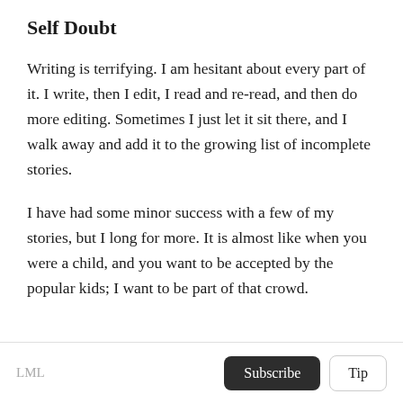Self Doubt
Writing is terrifying. I am hesitant about every part of it. I write, then I edit, I read and re-read, and then do more editing. Sometimes I just let it sit there, and I walk away and add it to the growing list of incomplete stories.
I have had some minor success with a few of my stories, but I long for more. It is almost like when you were a child, and you want to be accepted by the popular kids; I want to be part of that crowd.
LML  Subscribe  Tip